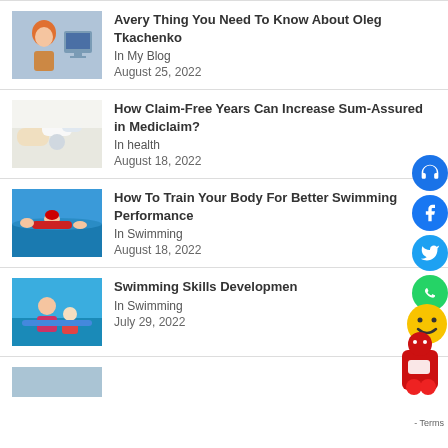[Figure (photo): Person with red/orange hair at computer screen]
Avery Thing You Need To Know About Oleg Tkachenko
In My Blog
August 25, 2022
[Figure (photo): Medical/healthcare hands close-up]
How Claim-Free Years Can Increase Sum-Assured in Mediclaim?
In health
August 18, 2022
[Figure (photo): Person swimming in pool]
How To Train Your Body For Better Swimming Performance
In Swimming
August 18, 2022
[Figure (photo): Swimming instructor with child in pool]
Swimming Skills Developmen
In Swimming
July 29, 2022